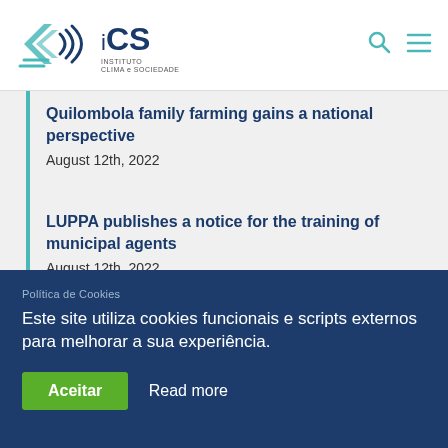[Figure (logo): iCS Instituto Clima e Sociedade logo with wave/signal graphic mark in teal and navy]
Quilombola family farming gains a national perspective
August 12th, 2022
LUPPA publishes a notice for the training of municipal agents
August 12th, 2022
Política de Cookies
Este site utiliza cookies funcionais e scripts externos para melhorar a sua experiência.
Aceitar   Read more